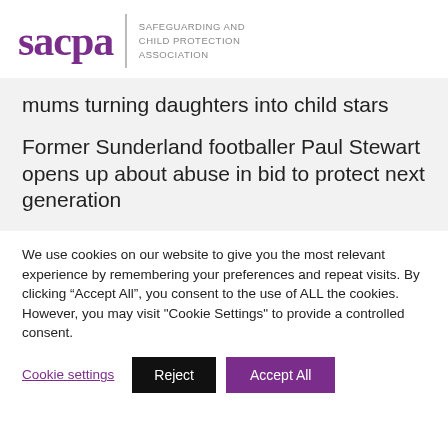[Figure (logo): SACPA logo — 'sacpa' in large purple serif font, vertical divider, then 'SAFEGUARDING AND CHILD PROTECTION ASSOCIATION' in small grey caps]
mums turning daughters into child stars
Former Sunderland footballer Paul Stewart opens up about abuse in bid to protect next generation
We use cookies on our website to give you the most relevant experience by remembering your preferences and repeat visits. By clicking “Accept All”, you consent to the use of ALL the cookies. However, you may visit "Cookie Settings" to provide a controlled consent.
Cookie settings | Reject | Accept All